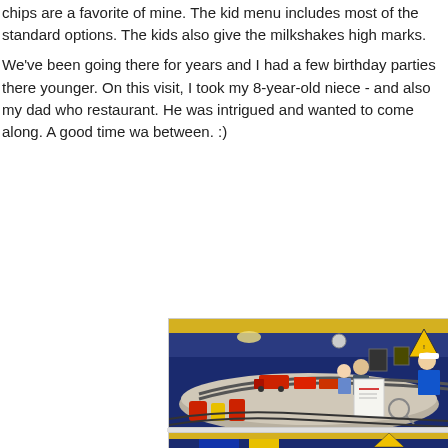chips are a favorite of mine. The kid menu includes most of the standard options. The kids also give the milkshakes high marks.
We've been going there for years and I had a few birthday parties there younger. On this visit, I took my 8-year-old niece - and also my dad who restaurant. He was intrigued and wanted to come along. A good time wa between. :)
[Figure (photo): Interior of a restaurant with a model train track running along a counter. A child and an adult are seated, and a staff member in a blue shirt is nearby. The walls are painted dark blue with yellow accents.]
[Figure (photo): Partial view of the bottom of the same restaurant interior showing blue and yellow decor elements.]